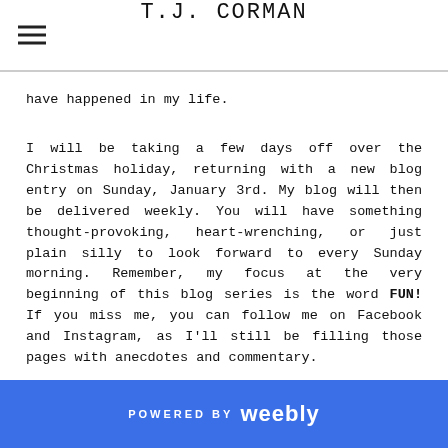T.J. CORMAN
have happened in my life.
I will be taking a few days off over the Christmas holiday, returning with a new blog entry on Sunday, January 3rd. My blog will then be delivered weekly. You will have something thought-provoking, heart-wrenching, or just plain silly to look forward to every Sunday morning. Remember, my focus at the very beginning of this blog series is the word FUN! If you miss me, you can follow me on Facebook and Instagram, as I'll still be filling those pages with anecdotes and commentary.
POWERED BY weebly